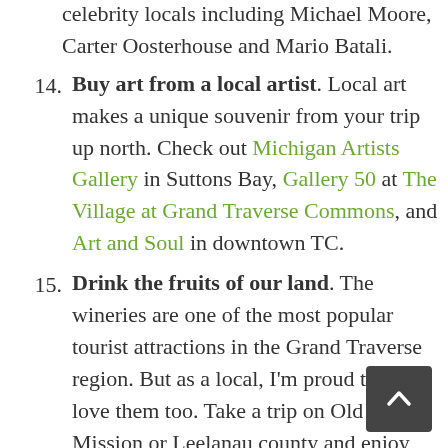celebrity locals including Michael Moore, Carter Oosterhouse and Mario Batali.
14. Buy art from a local artist. Local art makes a unique souvenir from your trip up north. Check out Michigan Artists Gallery in Suttons Bay, Gallery 50 at The Village at Grand Traverse Commons, and Art and Soul in downtown TC.
15. Drink the fruits of our land. The wineries are one of the most popular tourist attractions in the Grand Traverse region. But as a local, I'm proud to say I love them too. Take a trip on Old Mission or Leelanau county and enjoy the fruits of their labor. Before you go, check out my tips for wine-tasting in Northern Michigan.
16. Jump off a dock. Swing from a rope, dive in